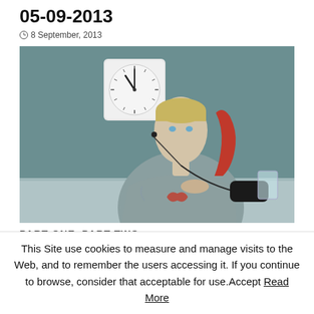05-09-2013
8 September, 2013
[Figure (photo): Young blonde man sitting at a table wearing earphones and a grey t-shirt with red graphic, holding a glass, with a clock on the wall behind him. Teal/blue-grey background.]
PART ONE PART TWO
This Site use cookies to measure and manage visits to the Web, and to remember the users accessing it. If you continue to browse, consider that acceptable for use.Accept Read More